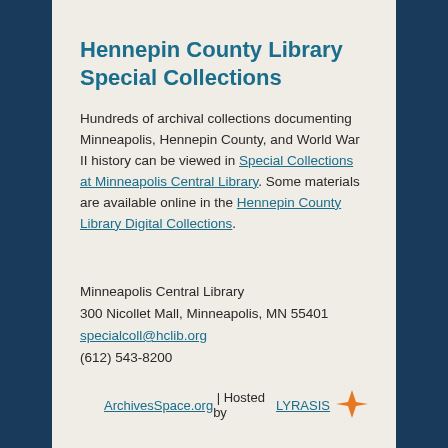Hennepin County Library Special Collections
Hundreds of archival collections documenting Minneapolis, Hennepin County, and World War II history can be viewed in Special Collections at Minneapolis Central Library. Some materials are available online in the Hennepin County Library Digital Collections.
Minneapolis Central Library
300 Nicollet Mall, Minneapolis, MN 55401
specialcoll@hclib.org
(612) 543-8200
ArchivesSpace.org | Hosted by LYRASIS